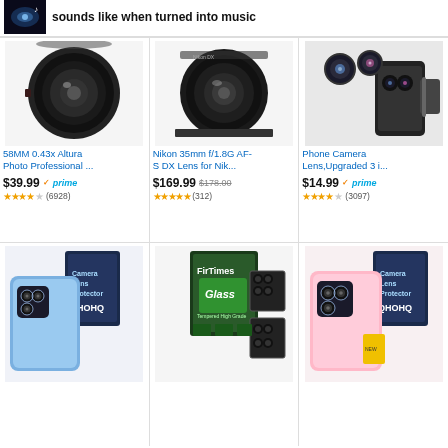sounds like when turned into music
[Figure (photo): Space/nebula image thumbnail with music note icon]
[Figure (photo): 58MM 0.43x wide angle camera lens product photo]
58MM 0.43x Altura Photo Professional ...
$39.99 ✓prime
★★★★☆ (6928)
[Figure (photo): Nikon 35mm f/1.8G AF-S DX Lens product photo]
Nikon 35mm f/1.8G AF-S DX Lens for Nik...
$169.99 $178.00
★★★★★ (312)
[Figure (photo): Phone Camera Lens kit with clip, 3-in-1 set]
Phone Camera Lens,Upgraded 3 i...
$14.99 ✓prime
★★★★☆ (3097)
[Figure (photo): Camera lens protector for iPhone 13 Pro - QHOHQ brand]
[Figure (photo): FirTimes camera lens protector with glass protectors]
[Figure (photo): QHOHQ camera lens protector for iPhone 13 pink]